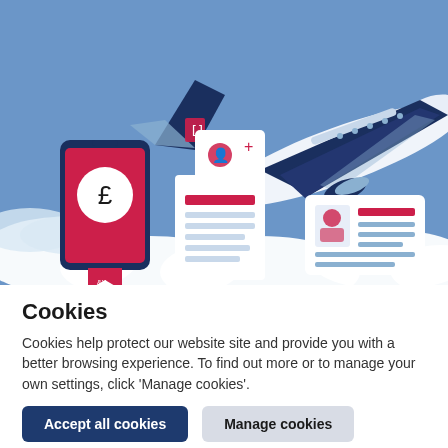[Figure (illustration): Colorful flat-style illustration showing travel and finance icons: a smartphone with a pound sign, a document, a user-add card, a passport/ID card, and a large airplane flying through clouds on a blue sky background.]
Cookies
Cookies help protect our website site and provide you with a better browsing experience. To find out more or to manage your own settings, click ‘Manage cookies’.
Accept all cookies
Manage cookies